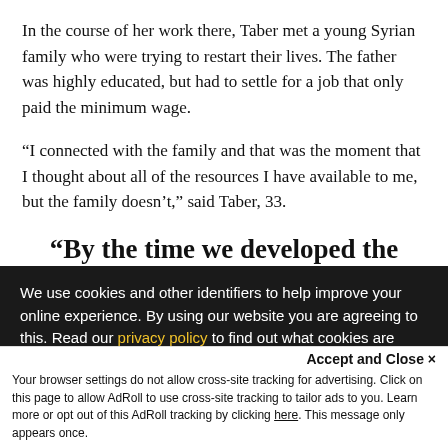In the course of her work there, Taber met a young Syrian family who were trying to restart their lives. The father was highly educated, but had to settle for a job that only paid the minimum wage.
“I connected with the family and that was the moment that I thought about all of the resources I have available to me, but the family doesn’t,” said Taber, 33.
“By the time we developed the plans and signed the lease, the
We use cookies and other identifiers to help improve your online experience. By using our website you are agreeing to this. Read our privacy policy to find out what cookies are used for and how to change your settings.
Accept and Close ×
Your browser settings do not allow cross-site tracking for advertising. Click on this page to allow AdRoll to use cross-site tracking to tailor ads to you. Learn more or opt out of this AdRoll tracking by clicking here. This message only appears once.